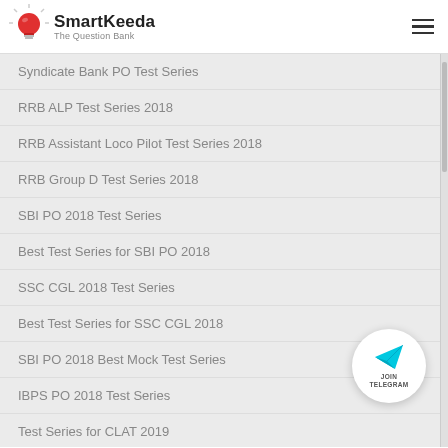SmartKeeda – The Question Bank
Syndicate Bank PO Test Series
RRB ALP Test Series 2018
RRB Assistant Loco Pilot Test Series 2018
RRB Group D Test Series 2018
SBI PO 2018 Test Series
Best Test Series for SBI PO 2018
SSC CGL 2018 Test Series
Best Test Series for SSC CGL 2018
SBI PO 2018 Best Mock Test Series
IBPS PO 2018 Test Series
Test Series for CLAT 2019
[Figure (logo): SmartKeeda logo with red lightbulb icon and text 'SmartKeeda The Question Bank']
[Figure (illustration): JOIN TELEGRAM circular button with cyan paper plane icon]